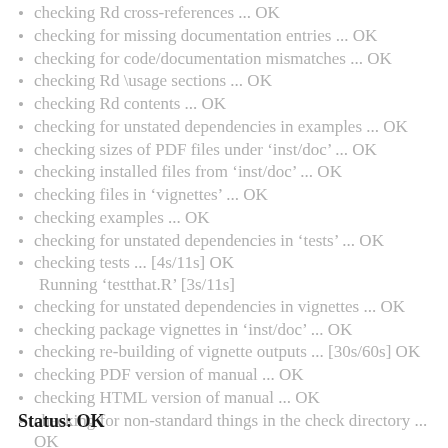checking Rd cross-references ... OK
checking for missing documentation entries ... OK
checking for code/documentation mismatches ... OK
checking Rd \usage sections ... OK
checking Rd contents ... OK
checking for unstated dependencies in examples ... OK
checking sizes of PDF files under ‘inst/doc’ ... OK
checking installed files from ‘inst/doc’ ... OK
checking files in ‘vignettes’ ... OK
checking examples ... OK
checking for unstated dependencies in ‘tests’ ... OK
checking tests ... [4s/11s] OK
     Running ‘testthat.R’ [3s/11s]
checking for unstated dependencies in vignettes ... OK
checking package vignettes in ‘inst/doc’ ... OK
checking re-building of vignette outputs ... [30s/60s] OK
checking PDF version of manual ... OK
checking HTML version of manual ... OK
checking for non-standard things in the check directory ... OK
checking for detritus in the temp directory ... OK
DONE
Status: OK